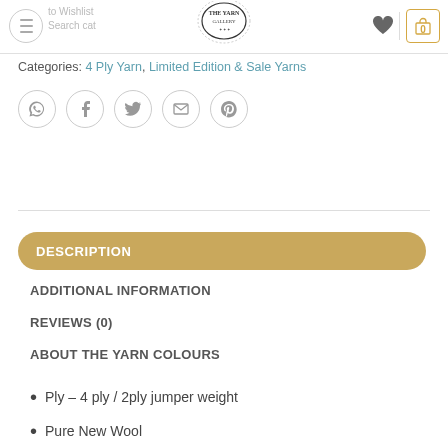The Yarn Gallery – navigation header with menu, logo, wishlist, and cart
Categories: 4 Ply Yarn, Limited Edition & Sale Yarns
[Figure (infographic): Row of 5 social sharing icons: WhatsApp, Facebook, Twitter, Email, Pinterest – each in a grey circle outline]
DESCRIPTION
ADDITIONAL INFORMATION
REVIEWS (0)
ABOUT THE YARN COLOURS
Ply – 4 ply / 2ply jumper weight
Pure New Wool